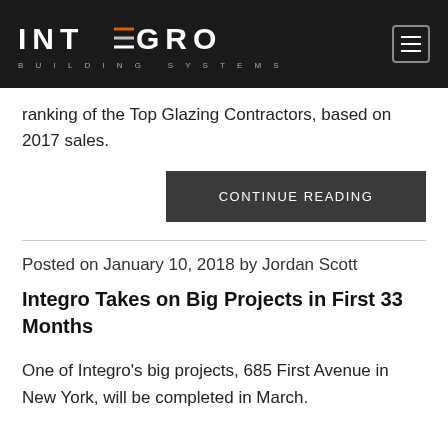[Figure (logo): Integro Building Systems logo on dark background with hamburger menu icon]
ranking of the Top Glazing Contractors, based on 2017 sales.
CONTINUE READING
Posted on January 10, 2018 by Jordan Scott
Integro Takes on Big Projects in First 33 Months
One of Integro's big projects, 685 First Avenue in New York, will be completed in March.